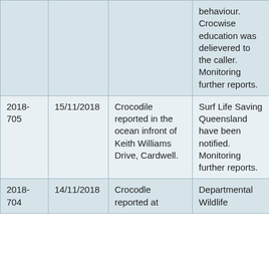| ID | Date | Description | Action |
| --- | --- | --- | --- |
|  |  |  | behaviour. Crocwise education was delievered to the caller. Monitoring further reports. |
| 2018-705 | 15/11/2018 | Crocodile reported in the ocean infront of Keith Williams Drive, Cardwell. | Surf Life Saving Queensland have been notified. Monitoring further reports. |
| 2018-704 | 14/11/2018 | Crocodle reported at | Departmental Wildlife |